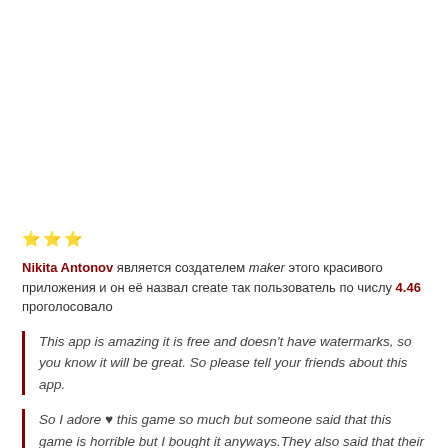⭐⭐⭐
Nikita Antonov является создателем maker этого красивого приложения и он её назвал create так пользователь по числу 4.46 проголосовало
This app is amazing it is free and doesn't have watermarks, so you know it will be great. So please tell your friends about this app.
So I adore ♥ this game so much but someone said that this game is horrible but I bought it anyways. They also said that their games are considered and their i...